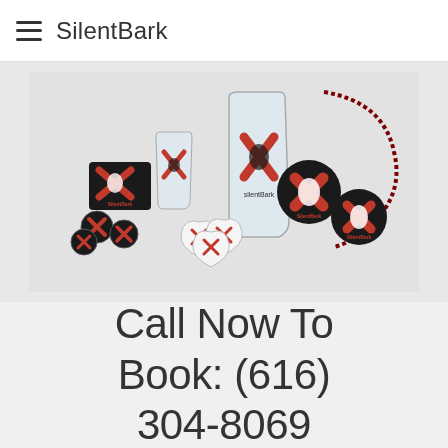SilentBark
[Figure (photo): SilentBark band merchandise laid out on a light grey background, including a pint glass and shot glass with the SilentBark logo (red X with white wolf silhouette), a sticker/card, black button pins, guitar picks with red X design, and black medallion necklaces with red beads showing the SilentBark logo.]
Call Now To Book: (616) 304-8069